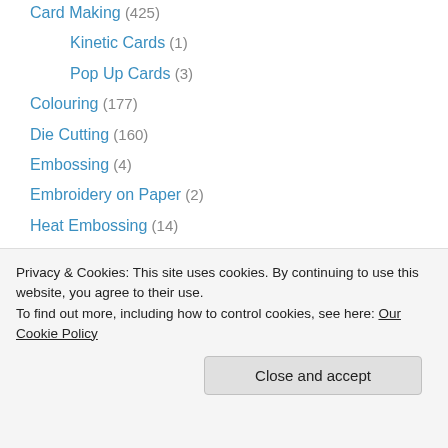Card Making (425)
Kinetic Cards (1)
Pop Up Cards (3)
Colouring (177)
Die Cutting (160)
Embossing (4)
Embroidery on Paper (2)
Heat Embossing (14)
Hot Foiling (61)
Inks (9)
Iris Folding (1)
Letterpressing (3)
Paper Beads (1)
Paper Cutting (6)
Paper Punching (11)
Privacy & Cookies: This site uses cookies. By continuing to use this website, you agree to their use. To find out more, including how to control cookies, see here: Our Cookie Policy